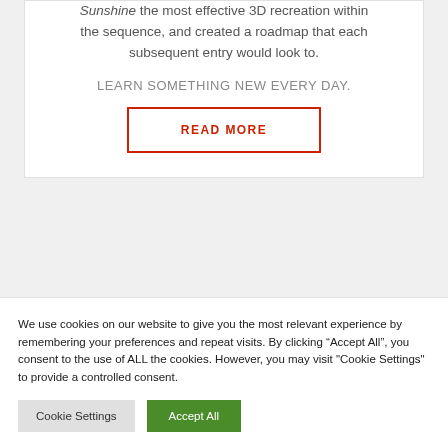Sunshine the most effective 3D recreation within the sequence, and created a roadmap that each subsequent entry would look to.
LEARN SOMETHING NEW EVERY DAY.
READ MORE
We use cookies on our website to give you the most relevant experience by remembering your preferences and repeat visits. By clicking “Accept All”, you consent to the use of ALL the cookies. However, you may visit "Cookie Settings" to provide a controlled consent.
Cookie Settings
Accept All